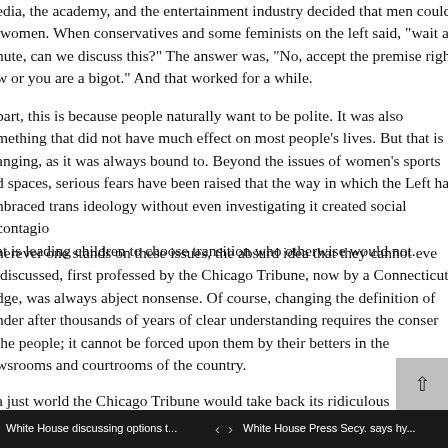edia, the academy, and the entertainment industry decided that men could become women. When conservatives and some feminists on the left said, "wait a minute, can we discuss this?" The answer was, "No, accept the premise right now or you are a bigot." And that worked for a while.
part, this is because people naturally want to be polite. It was also something that did not have much effect on most people's lives. But that is changing, as it was always bound to. Beyond the issues of women's sports and spaces, serious fears have been raised that the way in which the Left has embraced trans ideology without even investigating it created social contagion that is leading children to choose transition who otherwise would not.
herever one stands on these issues, the absurd idea that they cannot even be discussed, first professed by the Chicago Tribune, now by a Connecticut judge, was always abject nonsense. Of course, changing the definition of gender after thousands of years of clear understanding requires the consent of the people; it cannot be forced upon them by their betters in the newsrooms and courtrooms of the country.
a just world the Chicago Tribune would take back its ridiculous retraction and apologize to Williamson. That's likely not going to happen. But he and all of those others who have stood up for a biological definition of gender against a stiff headwind of progressive identity politics are starting to mount a comeback. The nation's editorial boards have finally woken up, heard our arguments, and
White House discussing options t...   ‹  ›   White House Press Secy. says hy...